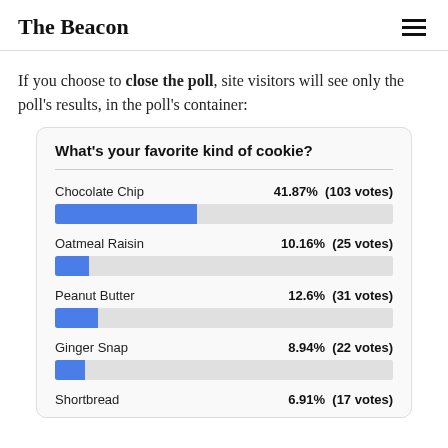The Beacon
If you choose to close the poll, site visitors will see only the poll's results, in the poll's container:
[Figure (bar-chart): What's your favorite kind of cookie?]